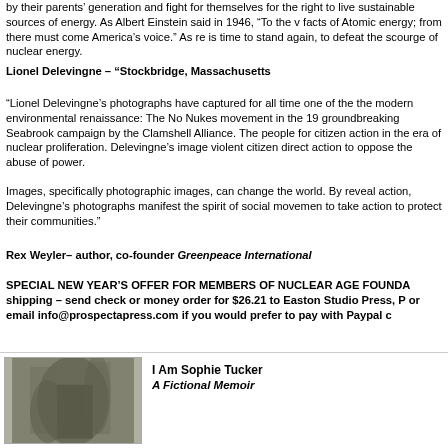by their parents’ generation and fight for themselves for the right to live. sustainable sources of energy. As Albert Einstein said in 1946, “To the v facts of Atomic energy; from there must come America’s voice.” As re is time to stand again, to defeat the scourge of nuclear energy.
Lionel Delevingne – “Stockbridge, Massachusetts
“Lionel Delevingne’s photographs have captured for all time one of the the modern environmental renaissance: The No Nukes movement in the 19 groundbreaking Seabrook campaign by the Clamshell Alliance. The people for citizen action in the era of nuclear proliferation. Delevingne’s image violent citizen direct action to oppose the abuse of power.
Images, specifically photographic images, can change the world. By reveal action, Delevingne’s photographs manifest the spirit of social movemen to take action to protect their communities.”
Rex Weyler– author, co-founder Greenpeace International
SPECIAL NEW YEAR’S OFFER FOR MEMBERS OF NUCLEAR AGE FOUNDA shipping – send check or money order for $26.21 to Easton Studio Press, P or email info@prospectapress.com if you would prefer to pay with Paypal c
[Figure (photo): Book cover photo showing a dark atmospheric nature/forest scene]
I Am Sophie Tucker
A Fictional Memoir